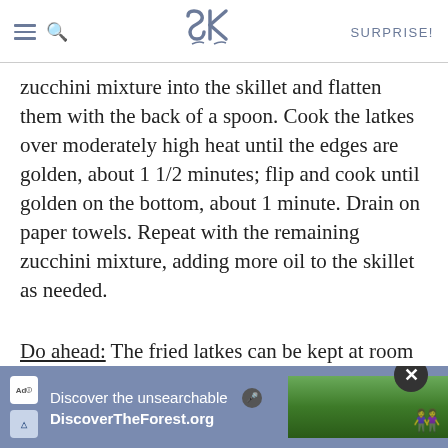SK | SURPRISE!
zucchini mixture into the skillet and flatten them with the back of a spoon. Cook the latkes over moderately high heat until the edges are golden, about 1 1/2 minutes; flip and cook until golden on the bottom, about 1 minute. Drain on paper towels. Repeat with the remaining zucchini mixture, adding more oil to the skillet as needed.
Do ahead: The fried latkes can be kept at room temperature for up to 4 hours. Reheat them on a dark baking sheet in a 375°F oven for about 5 minutes, or until warmed through and crisp.
[Figure (screenshot): Advertisement banner for DiscoverTheForest.org with forest background image and text 'Discover the unsearchable']